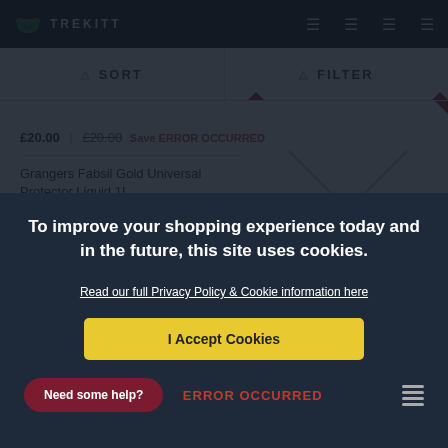TREKITT
SORT
FILTER
£20.00 | £20.00 Save ERROR OCCURRED
Grangers Fabsil Gold Universal Protector Liquid 1L
£9.45 | £8.45 Save ERROR OCCURRED
CHECK STOCK
To improve your shopping experience today and in the future, this site uses cookies.
Read our full Privacy Policy & Cookie information here
I Accept Cookies
Need some help?
ERROR OCCURRED